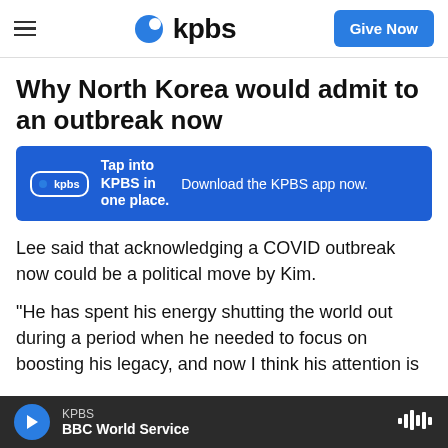kpbs | Give Now
Why North Korea would admit to an outbreak now
[Figure (infographic): KPBS app advertisement banner: blue background with KPBS logo, 'Tap into KPBS in one place.' and 'Download the KPBS app now.']
Lee said that acknowledging a COVID outbreak now could be a political move by Kim.
"He has spent his energy shutting the world out during a period when he needed to focus on boosting his legacy, and now I think his attention is
KPBS | BBC World Service